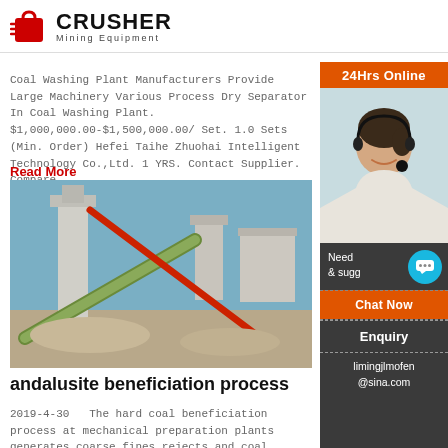[Figure (logo): Crusher Mining Equipment logo with red shopping bag icon and bold text]
Coal Washing Plant Manufacturers Provide Large Machinery Various Process Dry Separator In Coal Washing Plant. $1,000,000.00-$1,500,000.00/ Set. 1.0 Sets (Min. Order) Hefei Taihe Zhuohai Intelligent Technology Co.,Ltd. 1 YRS. Contact Supplier. Compare.
Read More
[Figure (photo): Industrial coal washing plant with conveyor belts and processing towers under blue sky]
andalusite beneficiation process
2019-4-30   The hard coal beneficiation process at mechanical preparation plants generates coarse fines rejects and coal tailings slurries. The tailings finest grain size, with the majority below ~ mm, whereby
[Figure (infographic): Right sidebar showing 24Hrs Online customer service with woman wearing headset, Chat Now button, Enquiry section, and limingjlmofen@sina.com email]